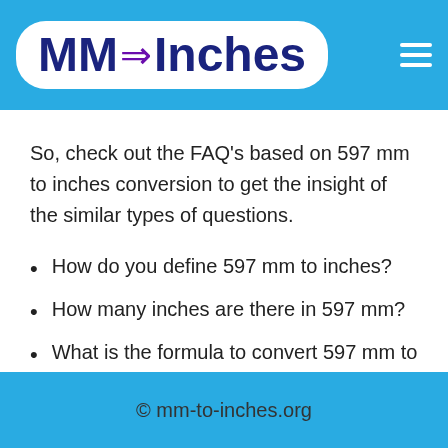MM → Inches
So, check out the FAQ's based on 597 mm to inches conversion to get the insight of the similar types of questions.
How do you define 597 mm to inches?
How many inches are there in 597 mm?
What is the formula to convert 597 mm to inches?
How do you calculate 597 mm to inches?
How do you transform 597 mm to inches?
© mm-to-inches.org